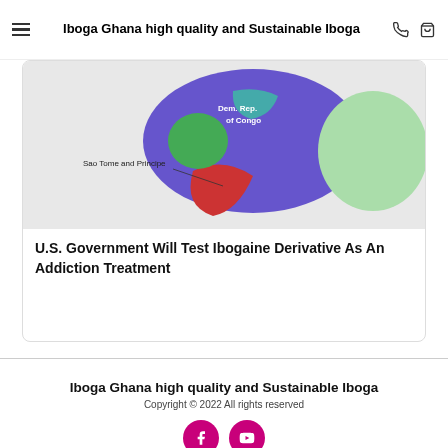Iboga Ghana high quality and Sustainable Iboga
[Figure (map): Partial map of Central Africa showing Sao Tome and Principe and Dem. Rep. of Congo regions in purple, red, green, and teal colors]
U.S. Government Will Test Ibogaine Derivative As An Addiction Treatment
Iboga Ghana high quality and Sustainable Iboga
Copyright © 2022 All rights reserved
[Figure (other): Facebook and YouTube social media icons as pink/magenta circular buttons]